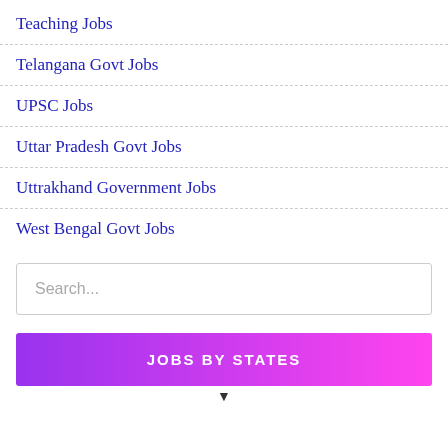Teaching Jobs
Telangana Govt Jobs
UPSC Jobs
Uttar Pradesh Govt Jobs
Uttrakhand Government Jobs
West Bengal Govt Jobs
Search...
JOBS BY STATES